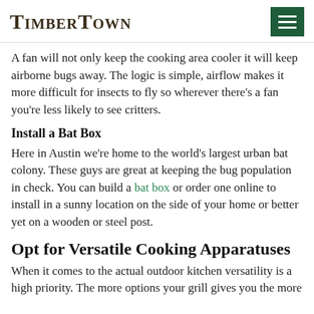TimberTown
A fan will not only keep the cooking area cooler it will keep airborne bugs away. The logic is simple, airflow makes it more difficult for insects to fly so wherever there's a fan you're less likely to see critters.
Install a Bat Box
Here in Austin we're home to the world's largest urban bat colony. These guys are great at keeping the bug population in check. You can build a bat box or order one online to install in a sunny location on the side of your home or better yet on a wooden or steel post.
Opt for Versatile Cooking Apparatuses
When it comes to the actual outdoor kitchen versatility is a high priority. The more options your grill gives you the more